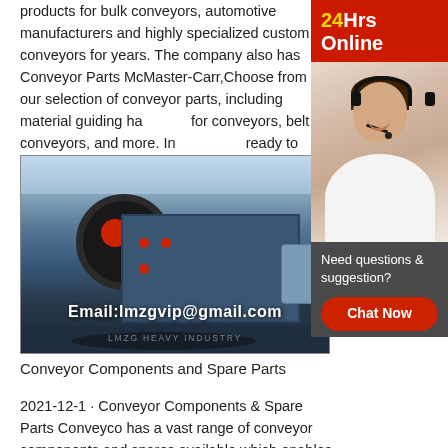products for bulk conveyors, automotive manufacturers and highly specialized custom conveyors for years. The company also has Conveyor Parts McMaster-Carr,Choose from our selection of conveyor parts, including material guiding hardware for conveyors, belt conveyors, and more. In ready to ship.
[Figure (photo): Industrial jaw crusher machine on a display floor with large flywheel. Email overlay: Email:lmzgvip@gmail.com. Watermark: LMZG HEAVY INDUSTRY]
Conveyor Components and Spare Parts
2021-12-1 · Conveyor Components & Spare Parts Conveyco has a vast range of conveyor components and spares available which enables us to offer many options to suit your individual needs. be it the smallest
[Figure (infographic): 24Hrs Online banner with red background, yellow '24' and white 'Hrs Online' text, with a customer service agent photo below and a dark chat box with 'Need questions & suggestion?' and a red 'Chat Now' button.]